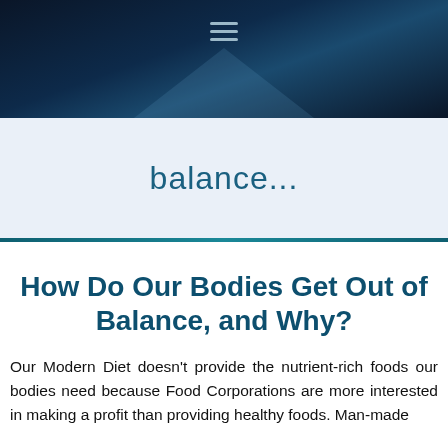[Figure (photo): Dark navy blue header image with a faint light triangle/beam effect and a hamburger menu icon at the top center]
balance...
How Do Our Bodies Get Out of Balance, and Why?
Our Modern Diet doesn't provide the nutrient-rich foods our bodies need because Food Corporations are more interested in making a profit than providing healthy foods. Man-made